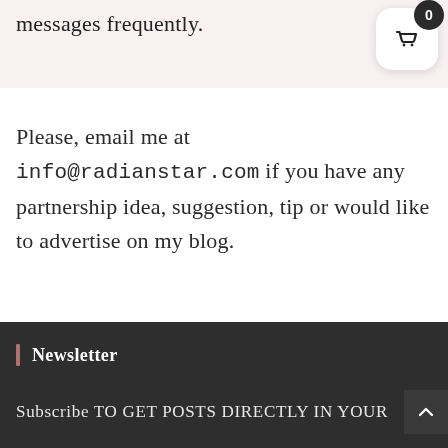messages frequently.
[Figure (other): Shopping cart widget with badge showing 0 items]
Please, email me at info@radianstar.com if you have any partnership idea, suggestion, tip or would like to advertise on my blog.
Newsletter
Subscribe TO GET POSTS DIRECTLY IN YOUR